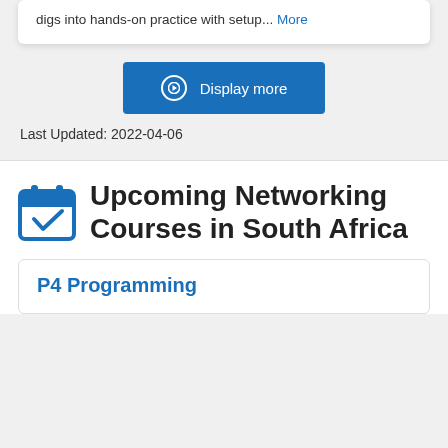digs into hands-on practice with setup... More
Display more
Last Updated: 2022-04-06
Upcoming Networking Courses in South Africa
P4 Programming